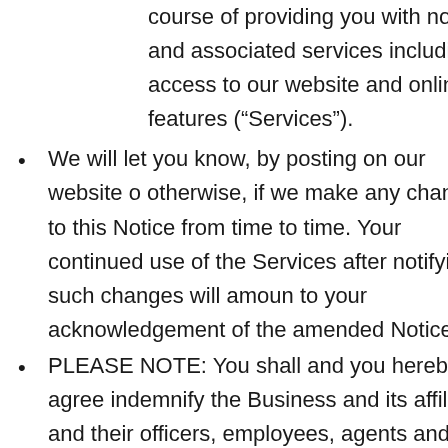course of providing you with notarial and associated services including access to our website and online features (“Services”).
We will let you know, by posting on our website or otherwise, if we make any changes to this Notice from time to time. Your continued use of the Services after notifying such changes will amount to your acknowledgement of the amended Notice
PLEASE NOTE: You shall and you hereby agree indemnify the Business and its affiliates and their officers, employees, agents and subcontractors (each an “Indemnified Party”) from and against any claims, losses, demands, actions, liabilities, fines penalties and losses and damages